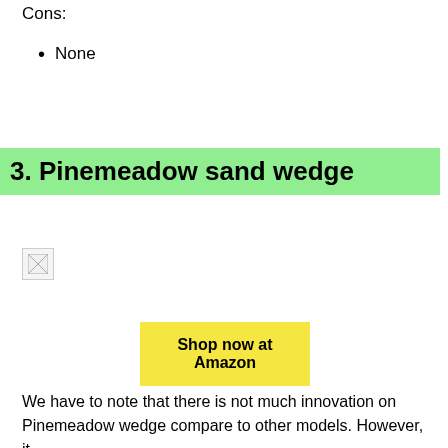Cons:
None
3. Pinemeadow sand wedge
[Figure (photo): Broken/missing image placeholder for Pinemeadow sand wedge product photo]
Shop now at Amazon
We have to note that there is not much innovation on Pinemeadow wedge compare to other models. However, it